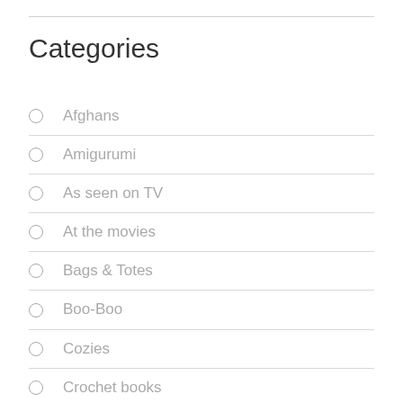Categories
Afghans
Amigurumi
As seen on TV
At the movies
Bags & Totes
Boo-Boo
Cozies
Crochet books